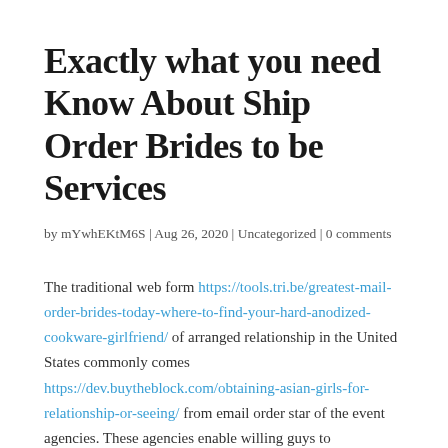Exactly what you need Know About Ship Order Brides to be Services
by mYwhEKtM6S | Aug 26, 2020 | Uncategorized | 0 comments
The traditional web form https://tools.tri.be/greatest-mail-order-brides-today-where-to-find-your-hard-anodized-cookware-girlfriend/ of arranged relationship in the United States commonly comes https://dev.buytheblock.com/obtaining-asian-girls-for-relationship-or-seeing/ from email order star of the event agencies. These agencies enable willing guys to